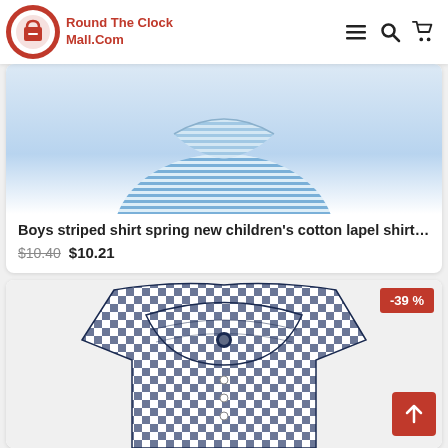Round The Clock Mall.Com
[Figure (photo): Boys striped shirt product image, blue and white stripes, partially visible collar area]
Boys striped shirt spring new children's cotton lapel shirt childr...
$10.40 $10.21
[Figure (photo): Navy blue and white gingham check children's shirt with large ruffled collar, discount badge -39%]